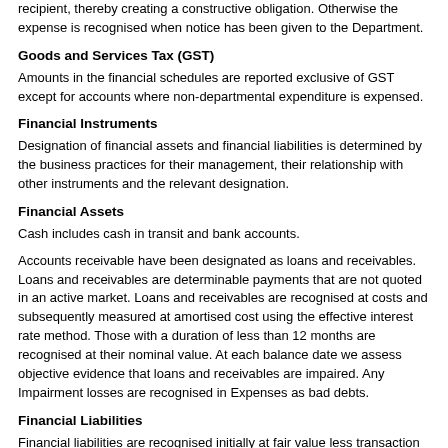recipient, thereby creating a constructive obligation. Otherwise the expense is recognised when notice has been given to the Department.
Goods and Services Tax (GST)
Amounts in the financial schedules are reported exclusive of GST except for accounts where non-departmental expenditure is expensed.
Financial Instruments
Designation of financial assets and financial liabilities is determined by the business practices for their management, their relationship with other instruments and the relevant designation.
Financial Assets
Cash includes cash in transit and bank accounts.
Accounts receivable have been designated as loans and receivables. Loans and receivables are determinable payments that are not quoted in an active market. Loans and receivables are recognised at costs and subsequently measured at amortised cost using the effective interest rate method. Those with a duration of less than 12 months are recognised at their nominal value. At each balance date we assess objective evidence that loans and receivables are impaired. Any Impairment losses are recognised in Expenses as bad debts.
Financial Liabilities
Financial liabilities are recognised initially at fair value less transaction costs and subsequently at effective interest rate method.